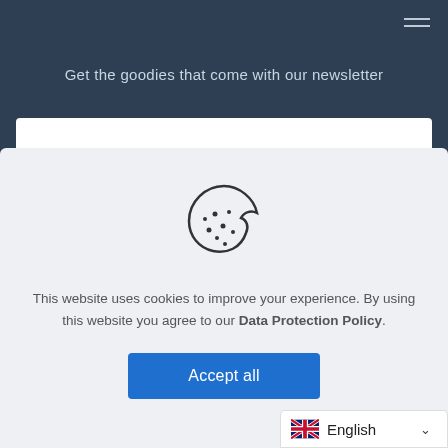Get the goodies that come with our newsletter
[Figure (illustration): Cookie icon — a circular cookie with a bite taken out, dotted with chocolate chips, outline style]
This website uses cookies to improve your experience. By using this website you agree to our Data Protection Policy.
Accept all
English